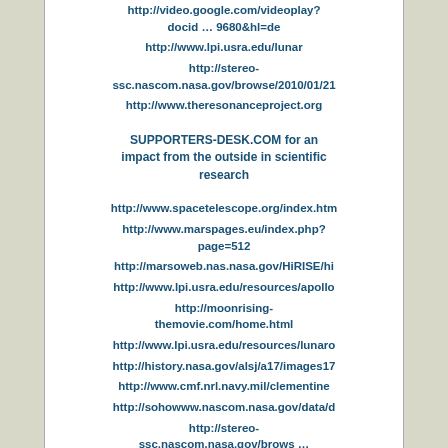http://video.google.com/videoplay?docid … 9680&hl=de
http://www.lpi.usra.edu/lunar
http://stereo-ssc.nascom.nasa.gov/browse/2010/01/21
http://www.theresonanceproject.org
SUPPORTERS-DESK.COM for an impact from the outside in scientific research
http://www.spacetelescope.org/index.htm
http://www.marspages.eu/index.php?page=512
http://marsoweb.nas.nasa.gov/HiRISE/hi
http://www.lpi.usra.edu/resources/apollo
http://moonrising-themovie.com/home.html
http://www.lpi.usra.edu/resources/lunaro
http://history.nasa.gov/alsj/a17/images17
http://www.cmf.nrl.navy.mil/clementine
http://sohowww.nascom.nasa.gov/data/d
http://stereo-ssc.nascom.nasa.gov/brows … uB_195.jpg
http://sdo.gsfc.nasa.gov/data
http://solen.info/solar
http://www.jaxa.jp/press/2007/11/20071110
http://history.nasa.gov/alsj/a17/images17
http://www.cufon.org/cufon/janp146c.htm
http://en.wikipedia.org/wiki/Planetary_